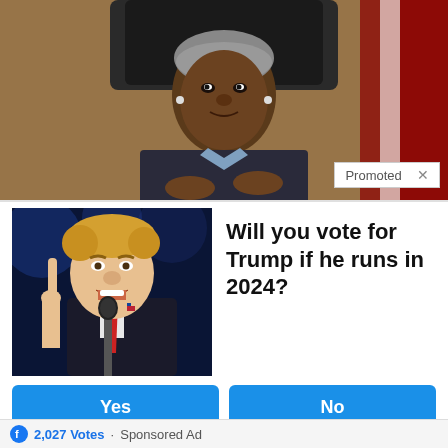[Figure (photo): Photo of a Black woman in a dark suit sitting at a desk in front of wooden paneling and an American flag, looking toward the camera.]
Promoted X
[Figure (photo): Photo of Donald Trump speaking into a microphone at a rally, pointing a finger, wearing a suit with a red tie.]
Will you vote for Trump if he runs in 2024?
Yes
No
I'm not sure
2,027 Votes · Sponsored Ad